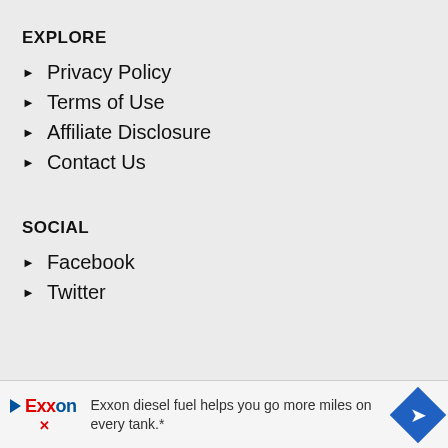EXPLORE
Privacy Policy
Terms of Use
Affiliate Disclosure
Contact Us
SOCIAL
Facebook
Twitter
[Figure (other): Exxon advertisement banner: logo with play arrow, Exxon text in blue and red, navigation diamond icon, text reading 'Exxon diesel fuel helps you go more miles on every tank.*']